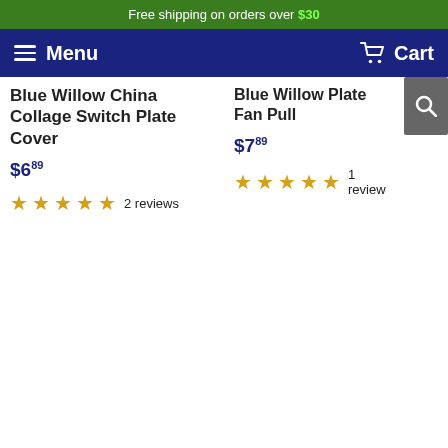Free shipping on orders over $30
Menu  Cart
Blue Willow China Collage Switch Plate Cover
$6.89
★★★★★ 2 reviews
Blue Willow Plate Fan Pull
$7.89
★★★★★ 1 review